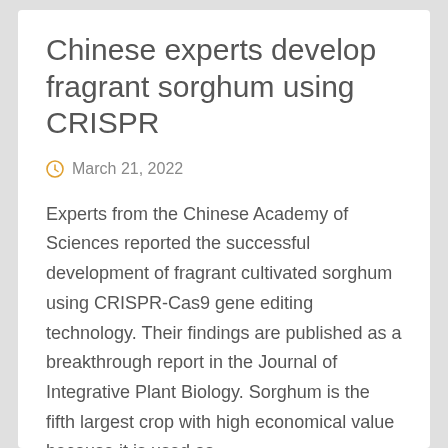Chinese experts develop fragrant sorghum using CRISPR
March 21, 2022
Experts from the Chinese Academy of Sciences reported the successful development of fragrant cultivated sorghum using CRISPR-Cas9 gene editing technology. Their findings are published as a breakthrough report in the Journal of Integrative Plant Biology. Sorghum is the fifth largest crop with high economical value because it is used as ...
Continue reading ›